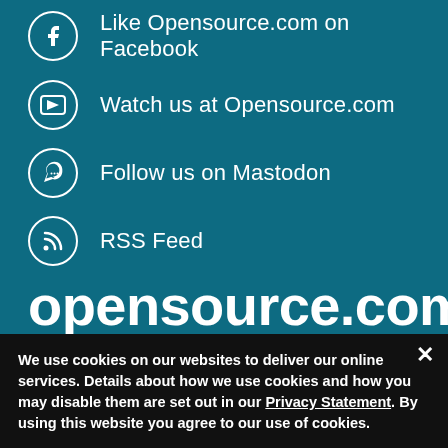Like Opensource.com on Facebook
Watch us at Opensource.com
Follow us on Mastodon
RSS Feed
opensource.com
Copyright ©2022 Red Hat, Inc.
We use cookies on our websites to deliver our online services. Details about how we use cookies and how you may disable them are set out in our Privacy Statement. By using this website you agree to our use of cookies.